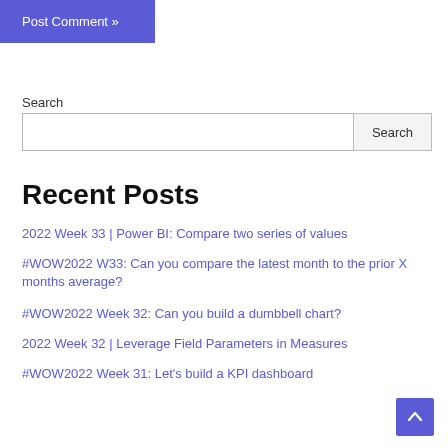Post Comment »
Search
Search
Recent Posts
2022 Week 33 | Power BI: Compare two series of values
#WOW2022 W33: Can you compare the latest month to the prior X months average?
#WOW2022 Week 32: Can you build a dumbbell chart?
2022 Week 32 | Leverage Field Parameters in Measures
#WOW2022 Week 31: Let's build a KPI dashboard